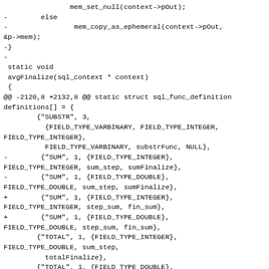Code diff showing changes to SQL function definitions in vdbe.c, including avgFinalize and SUM/TOTAL function entries with step_sum/fin_sum replacements.